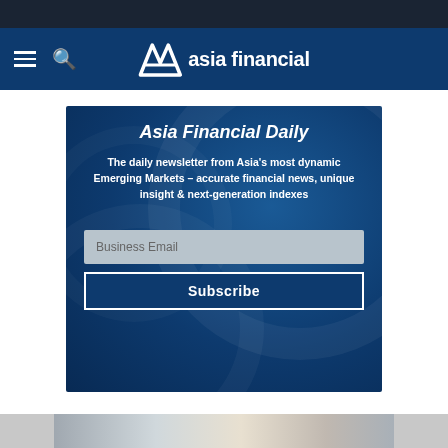Asia Financial
[Figure (screenshot): Asia Financial Daily newsletter signup widget on dark blue background with globe motif, Business Email input field and Subscribe button]
Asia Financial Daily
The daily newsletter from Asia's most dynamic Emerging Markets – accurate financial news, unique insight & next-generation indexes
[Figure (photo): Bottom partial image strip showing people, partially visible at bottom of page]